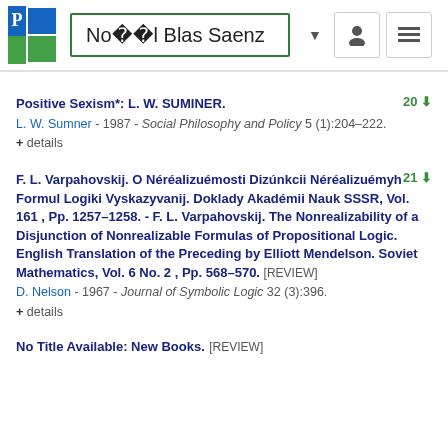Noï¿½l Blas Saenz
Positive Sexism*: L. W. SUMINER. 20
L. W. Sumner - 1987 - Social Philosophy and Policy 5 (1):204–222.
+ details
F. L. Varpahovskij. O Néréalizuémosti Dizúnkcii Néréalizuémyh Formul Logiki Vyskazyvanij. Doklady Akadémii Nauk SSSR, Vol. 161 , Pp. 1257–1258. - F. L. Varpahovskij. The Nonrealizability of a Disjunction of Nonrealizable Formulas of Propositional Logic. English Translation of the Preceding by Elliott Mendelson. Soviet Mathematics, Vol. 6 No. 2 , Pp. 568–570. [REVIEW] 21
D. Nelson - 1967 - Journal of Symbolic Logic 32 (3):396.
+ details
No Title Available: New Books. [REVIEW]